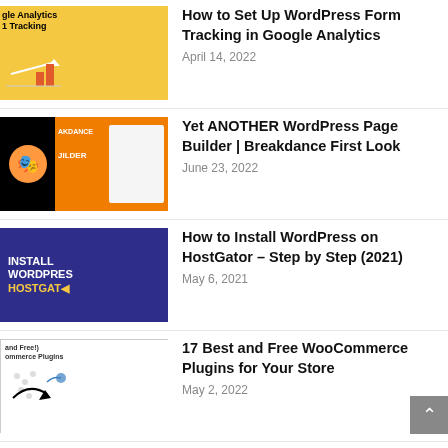How to Set Up WordPress Form Tracking in Google Analytics
April 14, 2022
Yet ANOTHER WordPress Page Builder | Breakdance First Look
June 23, 2022
How to Install WordPress on HostGator – Step by Step (2021)
May 6, 2021
17 Best and Free WooCommerce Plugins for Your Store
May 2, 2022
WooCommerce Product Page Design | WooBuilder Blocks | Gutenberg
September 20, 2021